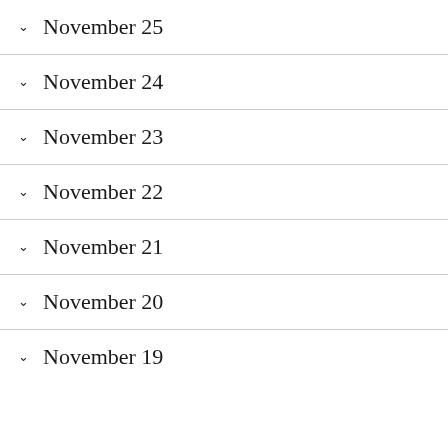November 25
November 24
November 23
November 22
November 21
November 20
November 19